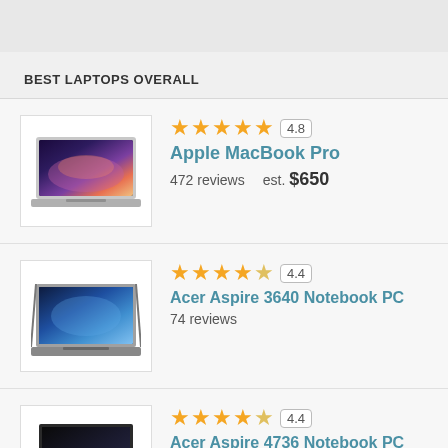BEST LAPTOPS OVERALL
Apple MacBook Pro — 4.8 stars, 472 reviews, est. $650
Acer Aspire 3640 Notebook PC — 4.4 stars, 74 reviews
Acer Aspire 4736 Notebook PC — 4.4 stars